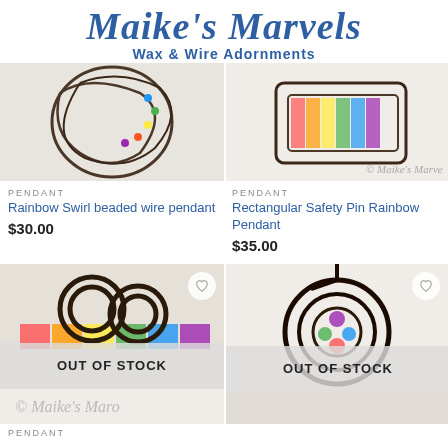Maike's Marvels
Wax & Wire Adornments
[Figure (photo): Wire swirl beaded pendant on white background]
PENDANT
Rainbow Swirl beaded wire pendant
$30.00
[Figure (photo): Rectangular safety pin rainbow pendant on fabric]
PENDANT
Rectangular Safety Pin Rainbow Pendant
$35.00
[Figure (photo): Coiled wire pendant with rainbow beads, sold out, out of stock overlay]
[Figure (photo): Circular cage wire pendant with colorful beads, sold out, out of stock overlay]
PENDANT